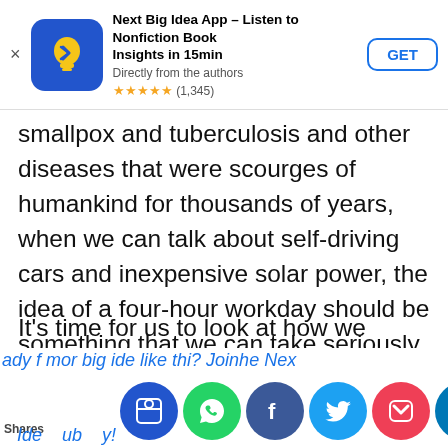[Figure (screenshot): App store banner for 'Next Big Idea App – Listen to Nonfiction Book Insights in 15min'. Shows app icon (blue with yellow lightbulb), title, subtitle 'Directly from the authors', 5-star rating (1,345 reviews), and GET button.]
smallpox and tuberculosis and other diseases that were scourges of humankind for thousands of years, when we can talk about self-driving cars and inexpensive solar power, the idea of a four-hour workday should be something that we can take seriously.
It's time for us to look at how we would go about creating a world in which that is the default. I think that would be a great thing.
Ready for more big ideas like this? Join the Next Big Idea Club today!